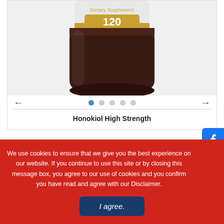[Figure (photo): Product bottle of Honokiol High Strength dietary supplement, 120 vegan capsules, dark brown bottle with gold label badge]
Honokiol High Strength
1. High Strength
2. Best Purity
We use cookies to ensure that we give you the best experience on our website. If you continue to use this site or by closing this message box, you agree to our use of cookies and you confirm you have read and agree with our Disclaimer.
I agree.